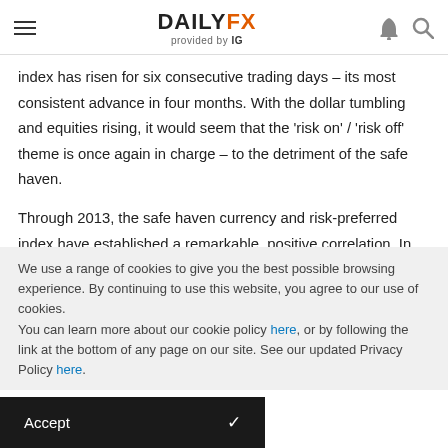DAILYFX provided by IG
index has risen for six consecutive trading days – its most consistent advance in four months. With the dollar tumbling and equities rising, it would seem that the 'risk on' / 'risk off' theme is once again in charge – to the detriment of the safe haven.
Through 2013, the safe haven currency and risk-preferred index have established a remarkable, positive correlation. In fact, the rolling three-month 60-day (three-month) correlation has moved as high as positive 0.75 (1.00 would mean they moved in lockstep). Given this unusual state of
We use a range of cookies to give you the best possible browsing experience. By continuing to use this website, you agree to our use of cookies.
You can learn more about our cookie policy here, or by following the link at the bottom of any page on our site. See our updated Privacy Policy here.